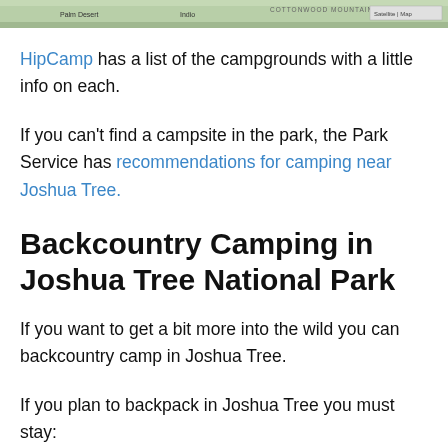[Figure (map): Partial map image showing Palm Desert, Indio, Cottonwood Mountains area near Joshua Tree]
HipCamp has a list of the campgrounds with a little info on each.
If you can't find a campsite in the park, the Park Service has recommendations for camping near Joshua Tree.
Backcountry Camping in Joshua Tree National Park
If you want to get a bit more into the wild you can backcountry camp in Joshua Tree.
If you plan to backpack in Joshua Tree you must stay: